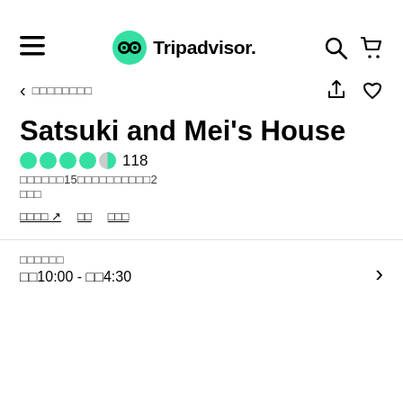Tripadvisor
< □□□□□□□□
Satsuki and Mei's House
●●●●◑ 118
□□□□□□15□□□□□□□□□□2
□□□
□□□□ ↗   □□   □□□
□□□□□□
□□10:00 - □□4:30